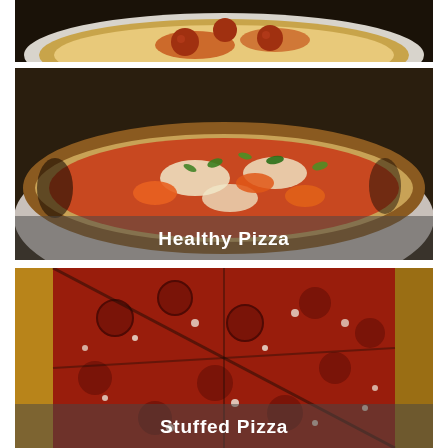[Figure (photo): Close-up of a pepperoni pizza slice on a white plate, partially cropped at top of page]
[Figure (photo): Artisan flatbread healthy pizza with tomatoes, mozzarella and fresh basil herbs on a white plate, with text overlay 'Healthy Pizza']
[Figure (photo): Stuffed pizza with thick crust, topped with red sauce, pepperoni and grated cheese, with text overlay 'Stuffed Pizza']